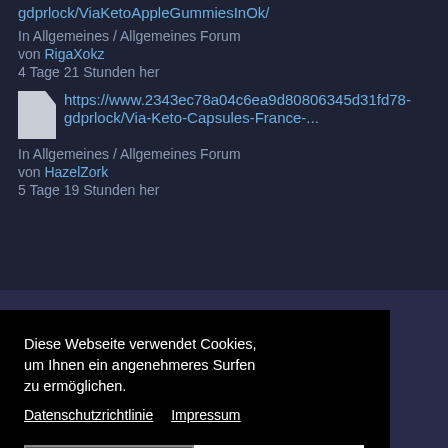gdprlock/ViaKetoAppleGummiesInOk/
In Allgemeines / Allgemeines Forum
von RigaXokz
4 Tage 21 Stunden her
https://www.2343ec78a04c6ea9d80806345d31fd78-gdprlock/Via-Keto-Capsules-France-...
In Allgemeines / Allgemeines Forum
von HazelZork
5 Tage 19 Stunden her
Diese Webseite verwendet Cookies, um Ihnen ein angenehmeres Surfen zu ermöglichen.
Datenschutzrichtlinie   Impressum
Ablehnen
Zustimmen
nmander and other
in.